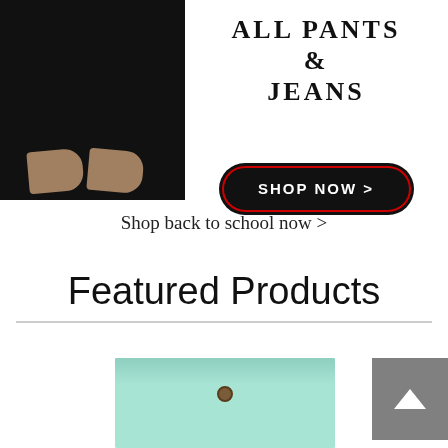[Figure (photo): Person wearing black pants/jeans with brown heeled shoes, cropped to show lower body only]
ALL PANTS & JEANS
SHOP NOW >
Shop back to school now >
Featured Products
[Figure (photo): Person wearing mint/teal colored pants, cropped to show waist area with button detail]
Back to top arrow button